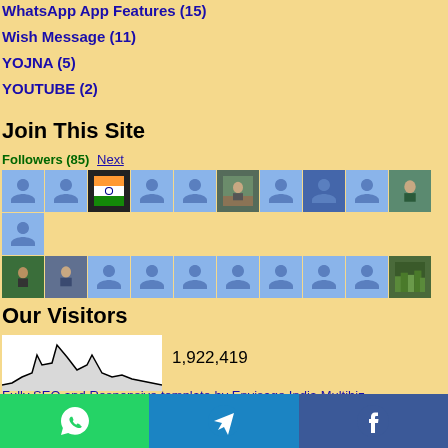WhatsApp App Features (15)
Wish Message (11)
YOJNA (5)
YOUTUBE (2)
Join This Site
Followers (85) Next
[Figure (other): Grid of 21 follower avatar thumbnails, mix of default blue person icons and real profile photos]
Our Visitors
[Figure (area-chart): Small sparkline/area chart showing visitor traffic spikes, black line on white background]
1,922,419
Fully SEO and Responsive template by Envisage India Multibiz
[Figure (infographic): Bottom share bar with three buttons: WhatsApp (green), Telegram (blue), Facebook (dark blue)]